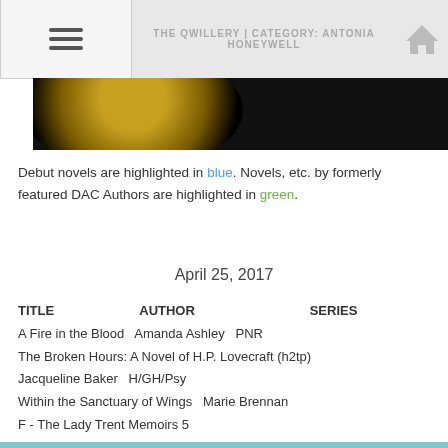THE QWILLERY | CATEGORY: ANTONIA HONEYWELL
[Figure (photo): Partial image strip showing a dark background with a circular yellow/gold object on the left and colorful book spines on the right]
Debut novels are highlighted in blue. Novels, etc. by formerly featured DAC Authors are highlighted in green.
April 25, 2017
| TITLE | AUTHOR | SERIES |
| --- | --- | --- |
| A Fire in the Blood | Amanda Ashley | PNR |
| The Broken Hours: A Novel of H.P. Lovecraft (h2tp) |  |  |
| Jacqueline Baker | H/GH/Psy |  |
| Within the Sanctuary of Wings | Marie Brennan |  |
| F - The Lady Trent Memoirs 5 |  |  |
| Buffalo Soldier | Maurice Broaddus | SP/F/HistF |